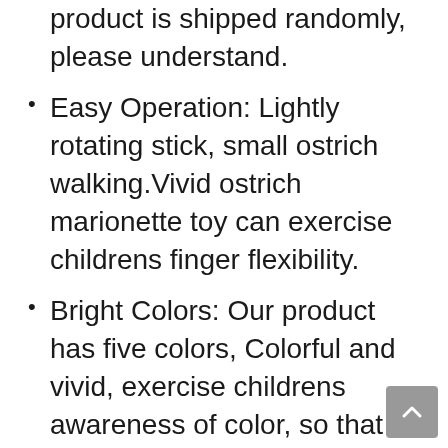children.The color of the product is shipped randomly, please understand.
Easy Operation: Lightly rotating stick, small ostrich walking.Vivid ostrich marionette toy can exercise childrens finger flexibility.
Bright Colors: Our product has five colors, Colorful and vivid, exercise childrens awareness of color, so that your children love this ostrich toy.
Intellectual Development: Stimulating the childs visual nerve development. Stimulate your childs potential creativity and imagination during the game.
Perfect Gift: Ostrich Marionette String Puppet Toy is an ideal gift to your kids at any occasion. Birthdays,